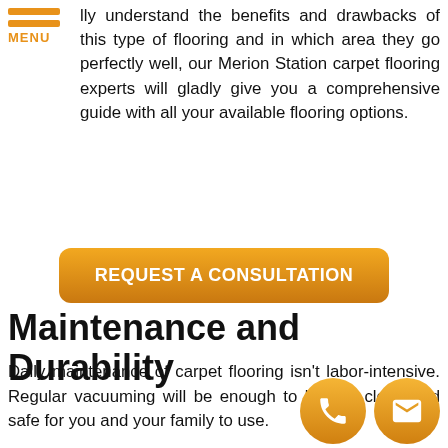[Figure (logo): Orange hamburger menu icon with two horizontal orange bars and 'MENU' text in orange below]
lly understand the benefits and drawbacks of this type of flooring and in which area they go perfectly well, our Merion Station carpet flooring experts will gladly give you a comprehensive guide with all your available flooring options.
REQUEST A CONSULTATION
Maintenance and Durability
Daily maintenance of carpet flooring isn't labor-intensive. Regular vacuuming will be enough to keep it clean and safe for you and your family to use.
However, it is important to remember that it is impossible to thoroughly clean your carpet all by yourself, considering that dust and micro-bacteria can be trapped within the fibers. This is all the more true when stains have already soaked and settled on your carpet. Once it does, professional carpet cleaners should already work on
[Figure (infographic): Two circular orange contact icon buttons at bottom right: phone icon and email icon]